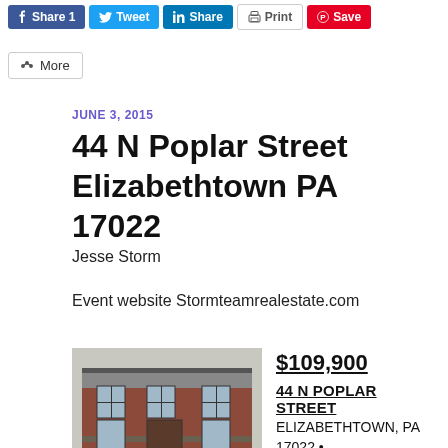Share 1  Tweet  Share  Print  Save  More
JUNE 3, 2015
44 N Poplar Street Elizabethtown PA 17022
Jesse Storm
Event website Stormteamrealestate.com
[Figure (photo): Photo of a brick row house at 44 N Poplar Street, Elizabethtown PA, with a porch and American flag]
$109,900
44 N POPLAR STREET
ELIZABETHTOWN, PA 17022 • #236747
New Listing